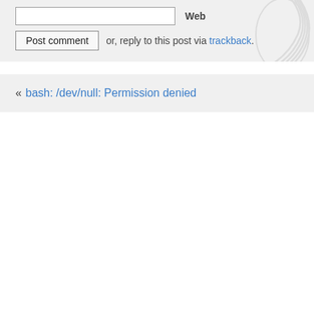Web
Post comment or, reply to this post via trackback.
« bash: /dev/null: Permission denied